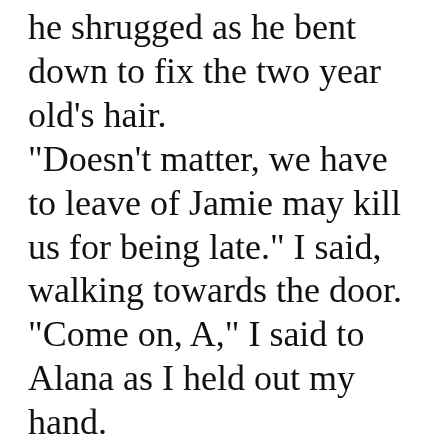he shrugged as he bent down to fix the two year old's hair. "Doesn't matter, we have to leave of Jamie may kill us for being late." I said, walking towards the door. "Come on, A," I said to Alana as I held out my hand. She took one last Cheerio and popped it in her mouth, before running in her flower girl dress over to me Caleb was trailing just behind her, hoping to meet me at the door. I smiled as I picked him up, and buckled him into the brand new